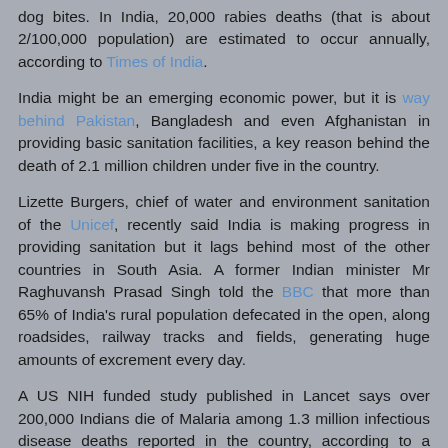dog bites. In India, 20,000 rabies deaths (that is about 2/100,000 population) are estimated to occur annually, according to Times of India.
India might be an emerging economic power, but it is way behind Pakistan, Bangladesh and even Afghanistan in providing basic sanitation facilities, a key reason behind the death of 2.1 million children under five in the country.
Lizette Burgers, chief of water and environment sanitation of the Unicef, recently said India is making progress in providing sanitation but it lags behind most of the other countries in South Asia. A former Indian minister Mr Raghuvansh Prasad Singh told the BBC that more than 65% of India's rural population defecated in the open, along roadsides, railway tracks and fields, generating huge amounts of excrement every day.
A US NIH funded study published in Lancet says over 200,000 Indians die of Malaria among 1.3 million infectious disease deaths reported in the country, according to a report by the BBC: